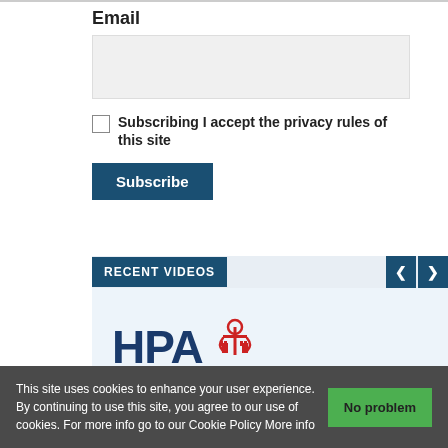Email
Subscribing I accept the privacy rules of this site
Subscribe
RECENT VIDEOS
[Figure (logo): Hamburg Port Authority (HPA) logo with anchor symbol]
This site uses cookies to enhance your user experience. By continuing to use this site, you agree to our use of cookies. For more info go to our Cookie Policy More info
No problem